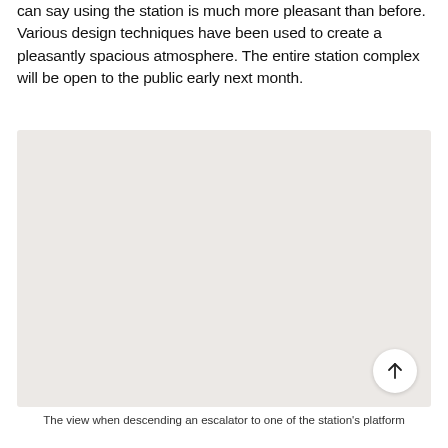can say using the station is much more pleasant than before. Various design techniques have been used to create a pleasantly spacious atmosphere. The entire station complex will be open to the public early next month.
[Figure (photo): A large light grey/beige placeholder image area representing a photo of the view when descending an escalator to one of the station's platforms.]
The view when descending an escalator to one of the station's platform